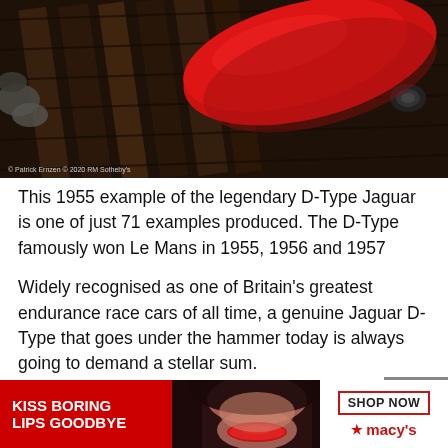[Figure (photo): Aerial/top-down view of a red 1955 D-Type Jaguar on a wooden plank surface with rocks visible]
© Patrick Ernzen © 2020 RM Sotheby's
This 1955 example of the legendary D-Type Jaguar is one of just 71 examples produced. The D-Type famously won Le Mans in 1955, 1956 and 1957
Widely recognised as one of Britain's greatest endurance race cars of all time, a genuine Jaguar D-Type that goes under the hammer today is always going to demand a stellar sum.
This m... rent, changi... s
[Figure (screenshot): Macy's advertisement banner with red background, 'KISS BORING LIPS GOODBYE' text, model photo, SHOP NOW button and Macy's logo with star]